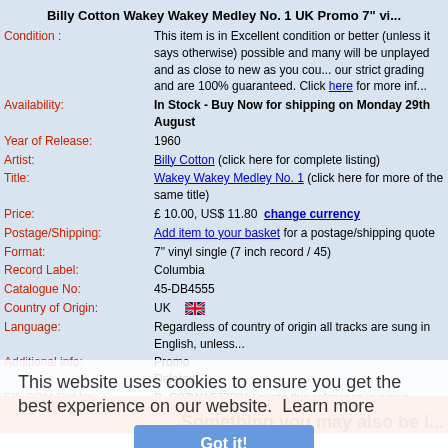Billy Cotton Wakey Wakey Medley No. 1 UK Promo 7" vi...
| Field | Value |
| --- | --- |
| Condition : | This item is in Excellent condition or better (unless it says otherwise)... |
| Availability: | In Stock - Buy Now for shipping on Monday 29th August |
| Year of Release: | 1960 |
| Artist: | Billy Cotton (click here for complete listing) |
| Title: | Wakey Wakey Medley No. 1 (click here for more of the same title) |
| Price: | £ 10.00, US$ 11.80  change currency |
| Postage/Shipping: | Add item to your basket for a postage/shipping quote |
| Format: | 7" vinyl single (7 inch record / 45) |
| Record Label: | Columbia |
| Catalogue No: | 45-DB4555 |
| Country of Origin: | UK 🇬🇧 |
| Language: | Regardless of country of origin all tracks are sung in English, unless... |
| Additional info: | Promo
Deleted |
| EIL.COM Ref No | B~C07WA577291 (quote this reference in any e-mails, letters, faxes...) |
| Genres: | Jazz, POP |
| Related Artists: | Kathie Kaye |
| Complete Stock List: | Billy Cotton |
| email: | sales@eil.com to contact our sales team |
| Alternative Names: | None |
| To order by phone: | Call 011-44-01474 815010 quoting EIL.COM reference number B~C... |
This website uses cookies to ensure you get the best experience on our website.  Learn more
Got it!
Something you may also be i...